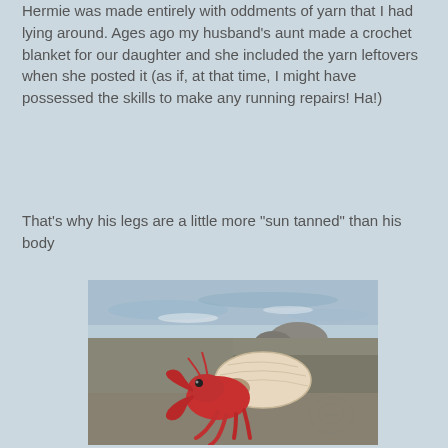Hermie was made entirely with oddments of yarn that I had lying around. Ages ago my husband's aunt made a crochet blanket for our daughter and she included the yarn leftovers when she posted it (as if, at that time, I might have possessed the skills to make any running repairs! Ha!)
That's why his legs are a little more "sun tanned" than his body
[Figure (photo): A crocheted hermit crab toy (red body with darker red legs and claws, black eyes) sitting on a rocky surface next to a crocheted shell (cream/beige colored). Rocky coastal scenery with ocean water visible in the background. A faint watermark/logo is visible in the lower right corner.]